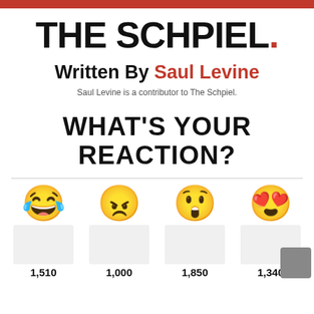THE SCHPIEL.
Written By Saul Levine
Saul Levine is a contributor to The Schpiel.
WHAT'S YOUR REACTION?
[Figure (infographic): Four emoji reaction faces: laughing, angry, shocked, heart-eyes, with counts 1,510 / 1,000 / 1,850 / 1,340]